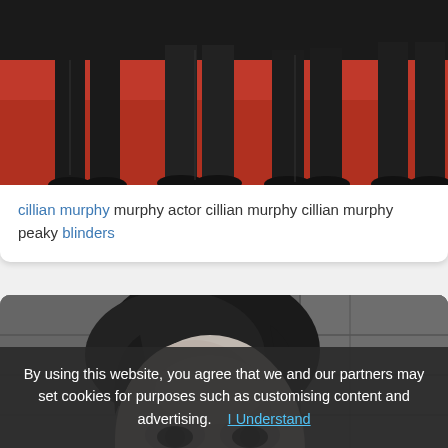[Figure (photo): Red carpet event photo showing lower halves of people in dark suits/formal wear standing on a red carpet, cropped at waist level]
cillian murphy murphy actor cillian murphy cillian murphy peaky blinders
[Figure (photo): Black and white portrait photograph of Cillian Murphy against a stone wall background]
By using this website, you agree that we and our partners may set cookies for purposes such as customising content and advertising.  I Understand